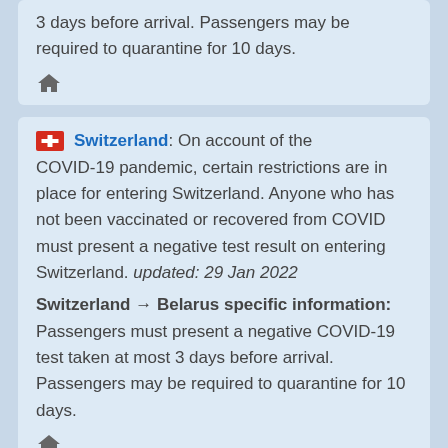3 days before arrival. Passengers may be required to quarantine for 10 days.
[Figure (illustration): House/home icon symbol]
Switzerland: On account of the COVID-19 pandemic, certain restrictions are in place for entering Switzerland. Anyone who has not been vaccinated or recovered from COVID must present a negative test result on entering Switzerland. updated: 29 Jan 2022
Switzerland → Belarus specific information: Passengers must present a negative COVID-19 test taken at most 3 days before arrival. Passengers may be required to quarantine for 10 days.
[Figure (illustration): House/home icon symbol]